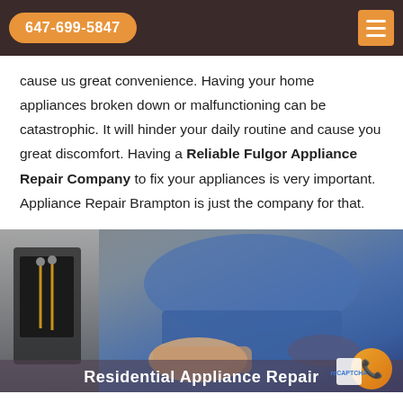647-699-5847
cause us great convenience. Having your home appliances broken down or malfunctioning can be catastrophic. It will hinder your daily routine and cause you great discomfort. Having a Reliable Fulgor Appliance Repair Company to fix your appliances is very important. Appliance Repair Brampton is just the company for that.
[Figure (photo): A technician in a blue uniform repairing a home appliance (dishwasher), with text overlay 'Residential Appliance Repair']